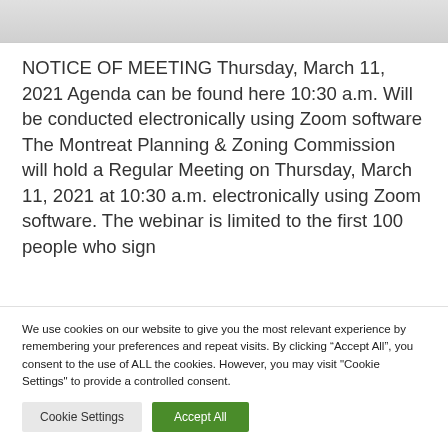[Figure (photo): Partial header image, grey/white gradient banner at top of page]
NOTICE OF MEETING Thursday, March 11, 2021 Agenda can be found here 10:30 a.m. Will be conducted electronically using Zoom software The Montreat Planning & Zoning Commission will hold a Regular Meeting on Thursday, March 11, 2021 at 10:30 a.m. electronically using Zoom software. The webinar is limited to the first 100 people who sign
We use cookies on our website to give you the most relevant experience by remembering your preferences and repeat visits. By clicking “Accept All”, you consent to the use of ALL the cookies. However, you may visit "Cookie Settings" to provide a controlled consent.